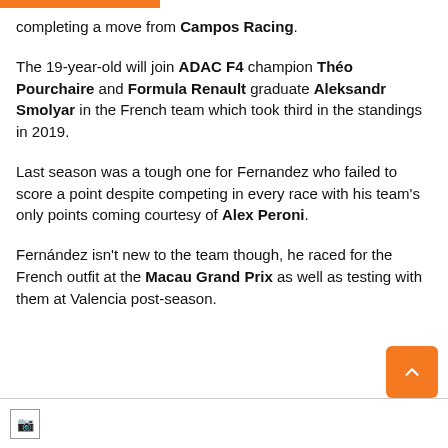completing a move from Campos Racing.
The 19-year-old will join ADAC F4 champion Théo Pourchaire and Formula Renault graduate Aleksandr Smolyar in the French team which took third in the standings in 2019.
Last season was a tough one for Fernandez who failed to score a point despite competing in every race with his team's only points coming courtesy of Alex Peroni.
Fernández isn't new to the team though, he raced for the French outfit at the Macau Grand Prix as well as testing with them at Valencia post-season.
[Figure (photo): Image placeholder at the bottom of the page]